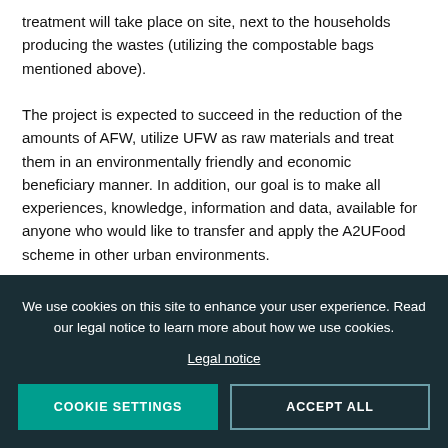treatment will take place on site, next to the households producing the wastes (utilizing the compostable bags mentioned above). The project is expected to succeed in the reduction of the amounts of AFW, utilize UFW as raw materials and treat them in an environmentally friendly and economic beneficiary manner. In addition, our goal is to make all experiences, knowledge, information and data, available for anyone who would like to transfer and apply the A2UFood scheme in other urban environments.
We use cookies on this site to enhance your user experience. Read our legal notice to learn more about how we use cookies.
Legal notice
COOKIE SETTINGS
ACCEPT ALL